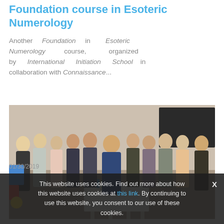Foundation course in Esoteric Numerology
Another Foundation in Esoteric Numerology course, organized by International Initiation School in collaboration with Connaissance...
[Figure (photo): Group photo of approximately 12 women standing together indoors, some smiling at the camera. A white table is visible in the foreground.]
01/30/2019
This website uses cookies. Find out more about how this website uses cookies at this link. By continuing to use this website, you consent to our use of these cookies.